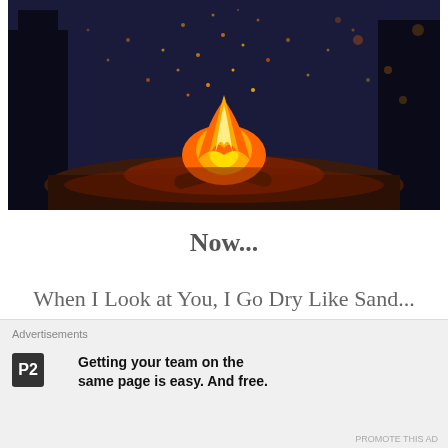[Figure (photo): A campfire burning brightly at night with sparks flying upward against a dark blue sky and trees in the background. The ground is sandy/dirt around the fire.]
Now...
When I Look at You, I Go Dry Like Sand...
Advertisements
Getting your team on the same page is easy. And free.